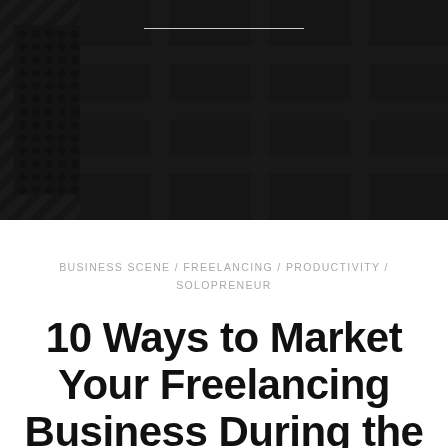[Figure (photo): Dark, moody hero image of a person wearing a plaid/flannel shirt, with a metal perforated surface visible on the left side. Image has a dark overlay. A thin horizontal line is centered near the top of the image.]
BUSINESS SCENE / FREELANCING / PRODUCTIVITY / SOLOPRENEUR
10 Ways to Market Your Freelancing Business During the COVID Crisis